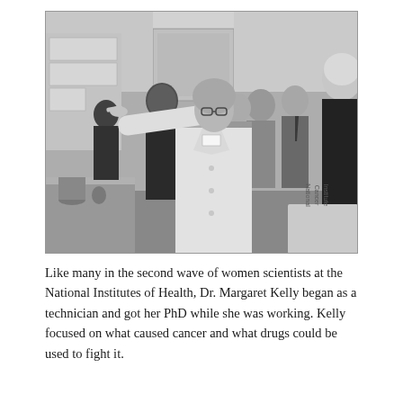[Figure (photo): Black and white photograph of a woman in a white lab coat pointing at something on a wall or board, surrounded by a group of men and women in a laboratory or office setting. The central figure appears to be explaining or demonstrating something. A sign reading 'National Cancer Institute' is partially visible in the lower right corner.]
Like many in the second wave of women scientists at the National Institutes of Health, Dr. Margaret Kelly began as a technician and got her PhD while she was working. Kelly focused on what caused cancer and what drugs could be used to fight it.